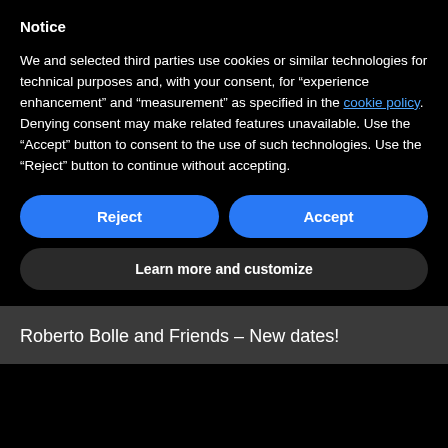Notice
We and selected third parties use cookies or similar technologies for technical purposes and, with your consent, for “experience enhancement” and “measurement” as specified in the cookie policy. Denying consent may make related features unavailable. Use the “Accept” button to consent to the use of such technologies. Use the “Reject” button to continue without accepting.
Reject
Accept
Learn more and customize
Roberto Bolle and Friends – New dates!